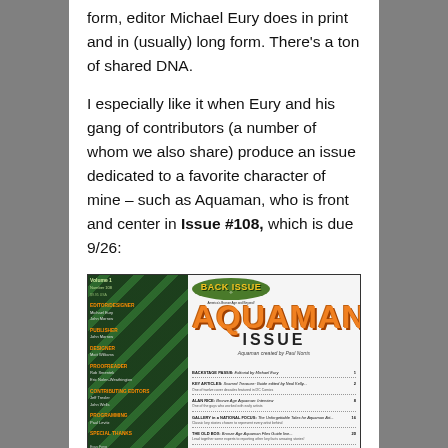form, editor Michael Eury does in print and in (usually) long form. There's a ton of shared DNA.

I especially like it when Eury and his gang of contributors (a number of whom we also share) produce an issue dedicated to a favorite character of mine – such as Aquaman, who is front and center in Issue #108, which is due 9/26:
[Figure (illustration): Cover of Back Issue magazine Aquaman Issue, showing the Aquaman logo in orange with 'ISSUE' below it, on a background with green snake/scale patterns on the left side. The left panel shows credits/staff listing. Bottom area shows table of contents.]